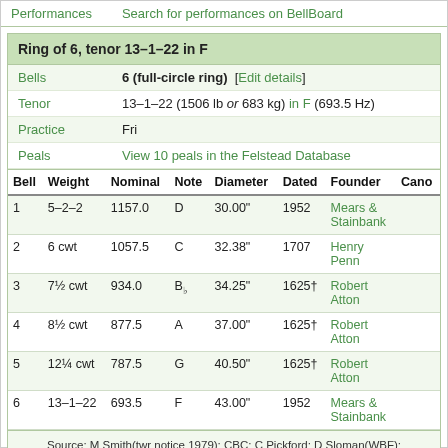Performances    Search for performances on BellBoard
Ring of 6, tenor 13–1–22 in F
| Bells | 6 (full-circle ring) [Edit details] |
| Tenor | 13–1–22 (1506 lb or 683 kg) in F (693.5 Hz) |
| Practice | Fri |
| Peals | View 10 peals in the Felstead Database |
| Bell | Weight | Nominal | Note | Diameter | Dated | Founder | Canon |
| --- | --- | --- | --- | --- | --- | --- | --- |
| 1 | 5–2–2 | 1157.0 | D | 30.00" | 1952 | Mears & Stainbank |  |
| 2 | 6 cwt | 1057.5 | C | 32.38" | 1707 | Henry Penn |  |
| 3 | 7½ cwt | 934.0 | B♭ | 34.25" | 1625† | Robert Atton |  |
| 4 | 8½ cwt | 877.5 | A | 37.00" | 1625† | Robert Atton |  |
| 5 | 12¼ cwt | 787.5 | G | 40.50" | 1625† | Robert Atton |  |
| 6 | 13–1–22 | 693.5 | F | 43.00" | 1952 | Mears & Stainbank |  |
Source: M Smith(twr notice 1979); CBC; C Pickford; D Sloman(WBF); JCB(RW1951/491); B Hibbert(D Hird)
Contributed by: Martin Smith